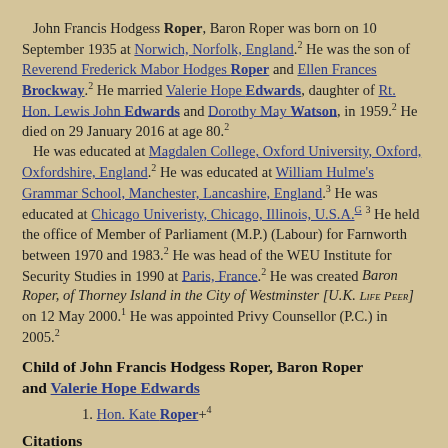John Francis Hodgess Roper, Baron Roper was born on 10 September 1935 at Norwich, Norfolk, England.2 He was the son of Reverend Frederick Mabor Hodges Roper and Ellen Frances Brockway.2 He married Valerie Hope Edwards, daughter of Rt. Hon. Lewis John Edwards and Dorothy May Watson, in 1959.2 He died on 29 January 2016 at age 80.2 He was educated at Magdalen College, Oxford University, Oxford, Oxfordshire, England.2 He was educated at William Hulme's Grammar School, Manchester, Lancashire, England.3 He was educated at Chicago Univeristy, Chicago, Illinois, U.S.A.G 3 He held the office of Member of Parliament (M.P.) (Labour) for Farnworth between 1970 and 1983.2 He was head of the WEU Institute for Security Studies in 1990 at Paris, France.2 He was created Baron Roper, of Thorney Island in the City of Westminster [U.K. Life Peer] on 12 May 2000.1 He was appointed Privy Counsellor (P.C.) in 2005.2
Child of John Francis Hodgess Roper, Baron Roper and Valerie Hope Edwards
1. Hon. Kate Roper+4
Citations